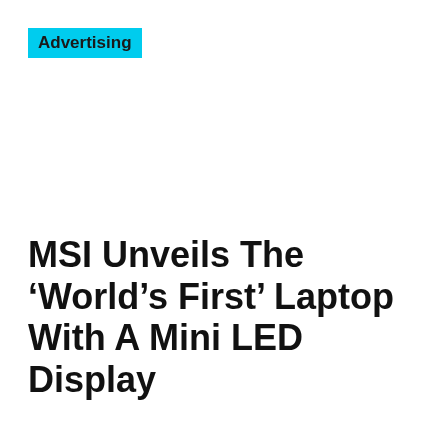Advertising
MSI Unveils The ‘World’s First’ Laptop With A Mini LED Display